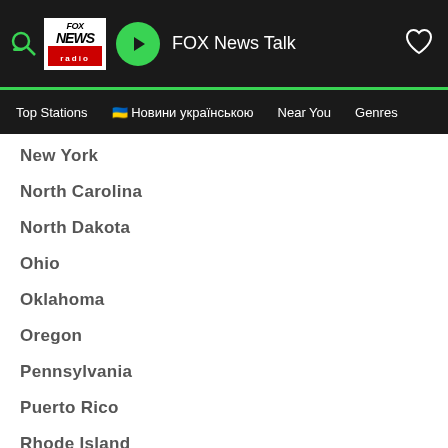[Figure (screenshot): App header with FOX News Radio logo, play button, and station name 'FOX News Talk' with heart/favorites icon]
Top Stations  🇺🇦 Новини українською  Near You  Genres
New York
North Carolina
North Dakota
Ohio
Oklahoma
Oregon
Pennsylvania
Puerto Rico
Rhode Island
South Carolina
South Dakota
Tennessee
Texas